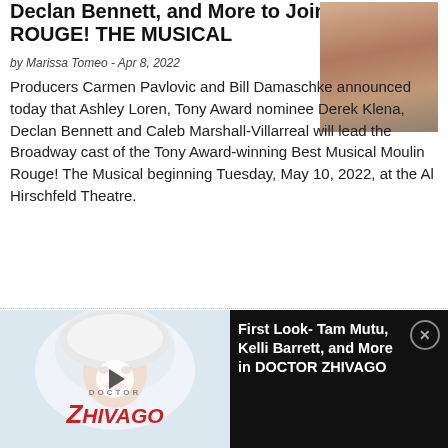Declan Bennett, and More to Join MOULIN ROUGE! THE MUSICAL
by Marissa Tomeo - Apr 8, 2022
[Figure (photo): Photo of a woman in a denim jacket posed against a warm background]
Producers Carmen Pavlovic and Bill Damaschke announced today that Ashley Loren, Tony Award nominee Derek Klena, Declan Bennett and Caleb Marshall-Villarreal will lead the Broadway cast of the Tony Award-winning Best Musical Moulin Rouge! The Musical beginning Tuesday, May 10, 2022, at the Al Hirschfeld Theatre.
Eva Noblezada, Reeve Carney & More This April at The Green Room 42
by Chloe Rabinowitz - Mar 30, 2022
[Figure (photo): Photo of a woman in a black dress posed in front of colorful flowers]
[Figure (photo): Doctor Zhivago musical promotional image with a woman in white and the Zhivago logo]
First Look- Tam Mutu, Kelli Barrett, and More in DOCTOR ZHIVAGO